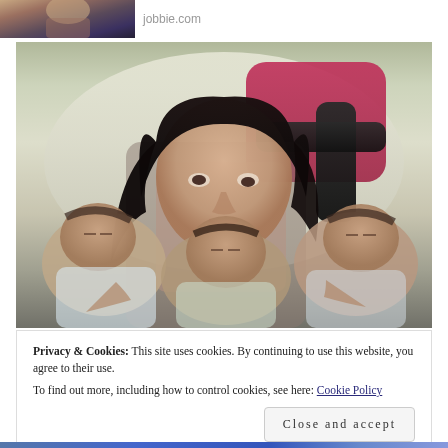[Figure (photo): Partial top image cropped — appears to show a woman with dark hair and a link text 'jobbie.com']
[Figure (photo): A woman with long dark hair holding multiple newborn babies, seated on a light-colored sofa. Another person in a magenta top and dark sleeves is visible behind her.]
Privacy & Cookies: This site uses cookies. By continuing to use this website, you agree to their use.
To find out more, including how to control cookies, see here: Cookie Policy
Close and accept
[Figure (photo): Partial bottom image strip visible at the very bottom of the page]